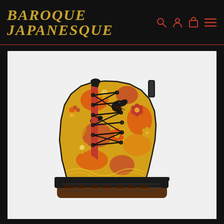BAROQUE JAPANESQUE
[Figure (photo): A lace-up combat boot with a yellow, orange, red, and black floral Japanese-inspired print pattern. The boot has a black tongue and collar, black laces, a red inner side panel, and a brown rubber lug sole with black trim.]